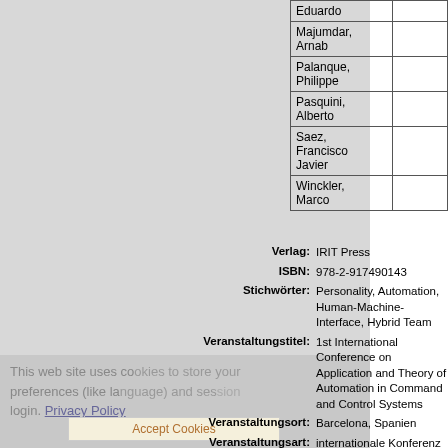| Name | Organization |
| --- | --- |
| Eduardo |  |
| Majumdar, Arnab |  |
| Palanque, Philippe |  |
| Pasquini, Alberto |  |
| Saez, Francisco Javier |  |
| Winckler, Marco |  |
| Field | Value |
| --- | --- |
| Verlag: | IRIT Press |
| ISBN: | 978-2-917490143 |
| Stichwörter: | Personality, Automation, Human-Machine-Interface, Hybrid Team |
| Veranstaltungstitel: | 1st International Conference on Application and Theory of Automation in Command and Control Systems |
| Veranstaltungsort: | Barcelona, Spanien |
| Veranstaltungsart: | internationale Konferenz |
| Veranstaltungsdatum: | 26.-27. May 2011 |
| DLR - Schwerpunkt: | Luftfahrt |
| DLR - Forschungsgebiet: | L AO - Luftverkehrsmanagement und Flugbetrieb |
This web site uses cookies to store your preferences (like language) and session login. Privacy Policy